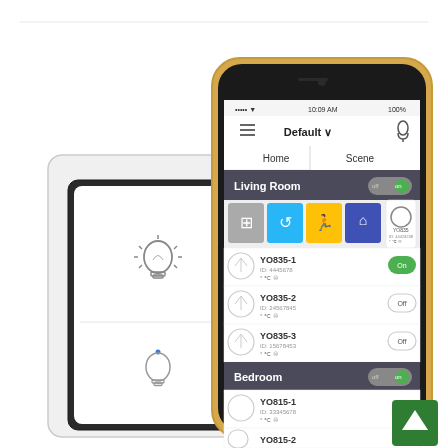[Figure (photo): Product photo showing a white smart light switch (wall panel with lightbulb icons and a dark rectangular touch area) alongside a smartphone displaying a smart home app interface. The app shows 'Default' home selected, with tabs for Home and Scene, Living Room and Bedroom sections with devices YO835-1 (On), YO835-2 (Off), YO835-3 (Off), YO815-1, YO815-2 listed. A green scroll-to-top button is in the bottom-right corner.]